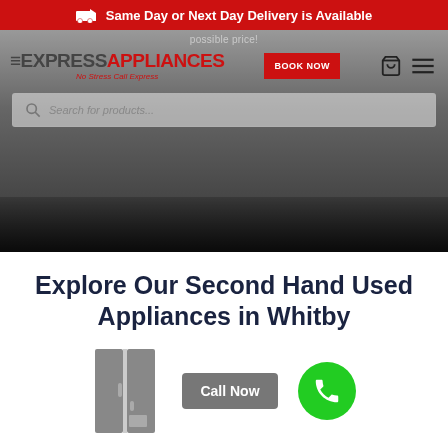Same Day or Next Day Delivery is Available
[Figure (screenshot): Express Appliances website header with logo, BOOK NOW button, navigation icons, search bar, and hero background image of appliances]
Explore Our Second Hand Used Appliances in Whitby
[Figure (illustration): Refrigerator icon in grey, Call Now button, and green phone circle button]